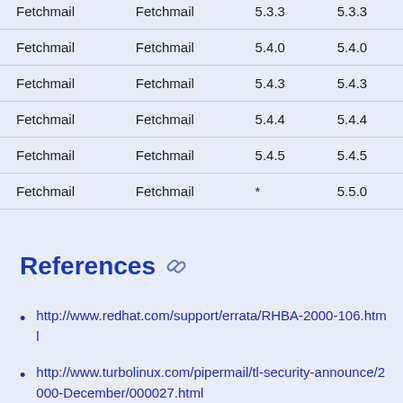| Product | Product | Version | Fixed Version |
| --- | --- | --- | --- |
| Fetchmail | Fetchmail | 5.3.3 | 5.3.3 |
| Fetchmail | Fetchmail | 5.4.0 | 5.4.0 |
| Fetchmail | Fetchmail | 5.4.3 | 5.4.3 |
| Fetchmail | Fetchmail | 5.4.4 | 5.4.4 |
| Fetchmail | Fetchmail | 5.4.5 | 5.4.5 |
| Fetchmail | Fetchmail | * | 5.5.0 |
References
http://www.redhat.com/support/errata/RHBA-2000-106.html
http://www.turbolinux.com/pipermail/tl-security-announce/2000-December/000027.html